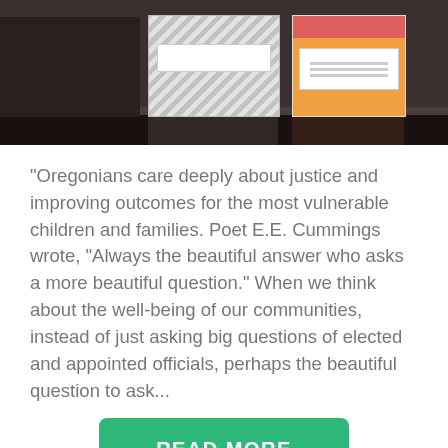[Figure (photo): Photo of decorative storage boxes on a shelf — one with gray chevron pattern and one orange with red top — on a dark reflective surface]
"Oregonians care deeply about justice and improving outcomes for the most vulnerable children and families. Poet E.E. Cummings wrote, "Always the beautiful answer who asks a more beautiful question." When we think about the well-being of our communities, instead of just asking big questions of elected and appointed officials, perhaps the beautiful question to ask...
READ MORE
TLC at the Linn-Benton DHS Office